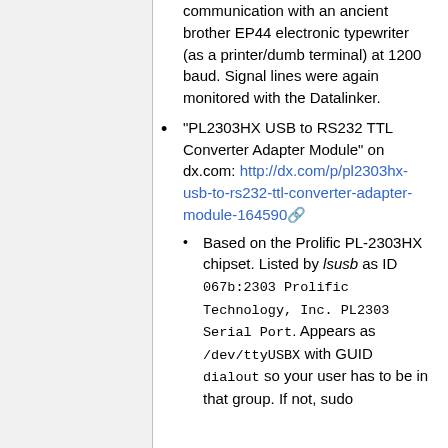communication with an ancient brother EP44 electronic typewriter (as a printer/dumb terminal) at 1200 baud. Signal lines were again monitored with the Datalinker.
"PL2303HX USB to RS232 TTL Converter Adapter Module" on dx.com: http://dx.com/p/pl2303hx-usb-to-rs232-ttl-converter-adapter-module-164590
Based on the Prolific PL-2303HX chipset. Listed by lsusb as ID 067b:2303 Prolific Technology, Inc. PL2303 Serial Port. Appears as /dev/ttyUSBX with GUID dialout so your user has to be in that group. If not, sudo